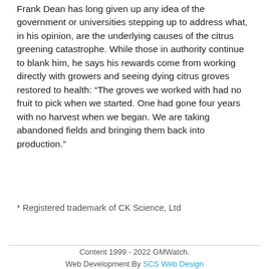Frank Dean has long given up any idea of the government or universities stepping up to address what, in his opinion, are the underlying causes of the citrus greening catastrophe. While those in authority continue to blank him, he says his rewards come from working directly with growers and seeing dying citrus groves restored to health: “The groves we worked with had no fruit to pick when we started. One had gone four years with no harvest when we began. We are taking abandoned fields and bringing them back into production.”
* Registered trademark of CK Science, Ltd
Content 1999 - 2022 GMWatch.
Web Development By SCS Web Design